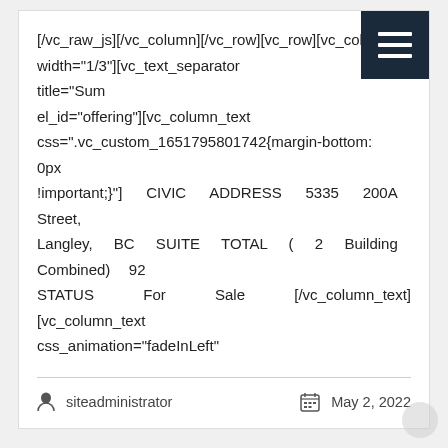[/vc_raw_js][/vc_column][/vc_row][vc_row][vc_column width="1/3"][vc_text_separator title="Sum el_id="offering"][vc_column_text css=".vc_custom_1651795801742{margin-bottom: 0px !important;}"] CIVIC ADDRESS 5335 200A Street, Langley, BC SUITE TOTAL ( 2 Building Combined) 92 STATUS For Sale [/vc_column_text][vc_column_text css_animation="fadeInLeft"
siteadministrator    May 2, 2022